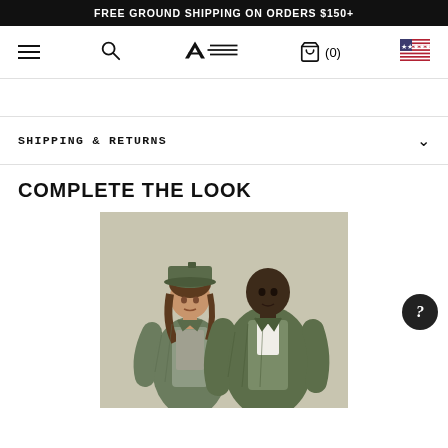FREE GROUND SHIPPING ON ORDERS $150+
[Figure (screenshot): Navigation bar with hamburger menu, search icon, Alpha Industries logo, cart (0), and US flag icon]
SHIPPING & RETURNS
COMPLETE THE LOOK
[Figure (photo): Two models wearing olive/green quilted bomber jackets; woman on left wears a green cap and grey outfit, man on right wears a dark olive quilted jacket over white shirt]